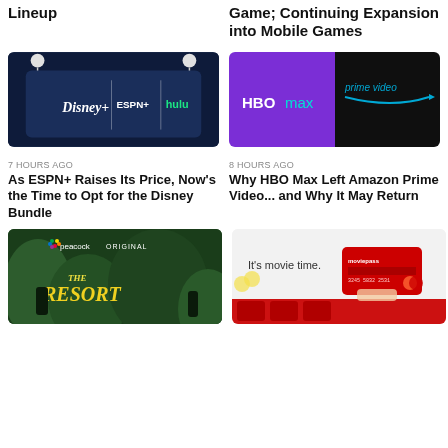Lineup
Game; Continuing Expansion into Mobile Games
[Figure (photo): Disney+ ESPN+ Hulu logos on a smartphone screen]
[Figure (photo): HBO Max and Amazon Prime Video logos side by side]
7 HOURS AGO
As ESPN+ Raises Its Price, Now's the Time to Opt for the Disney Bundle
8 HOURS AGO
Why HBO Max Left Amazon Prime Video... and Why It May Return
[Figure (photo): Peacock Original - The Resort promotional image]
[Figure (photo): MoviePass - It's movie time promotional image]